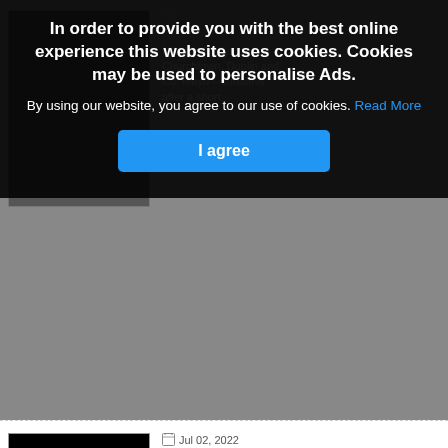[Figure (screenshot): Cookie consent overlay on a dark semi-transparent background over a website listing obituary entries]
In order to provide you with the best online experience this website uses cookies. Cookies may be used to personalise Ads.
By using our website, you agree to our use of cookies. Read More
I agree
[Figure (photo): Candle flame against black background]
Jul 02, 2022
Michael Paul Durkan, Fiddane, Corballa, Enniscrone, Co. Sligo
Micheal Paul Durkan,

Fiddane, Corballa, Enniscrone, Co. Sligo.

Deeply mourned by his…
[Figure (photo): Partial photo of a person, partially visible at bottom of page]
Jul 02, 2022
Pauline Ginty (nee